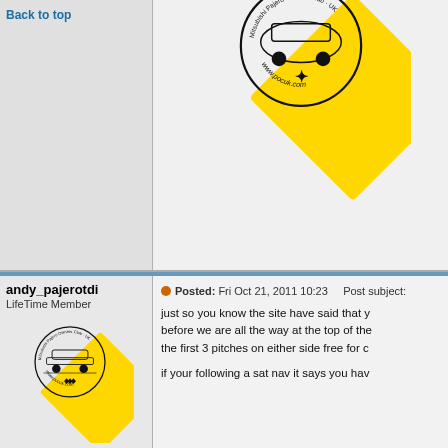Back to top
[Figure (logo): Yellow diamond-shaped Mitsubishi Pajero Owners Club UK logo with car illustration and www.pocuk.com text, partially cropped at top]
andy_pajerotdi
LifeTime Member
[Figure (logo): Yellow diamond-shaped Mitsubishi Pajero Owners Club UK logo with car illustration and www.pocuk.com text, full size]
Posted: Fri Oct 21, 2011 10:23    Post subject:
just so you know the site have said that y
before we are all the way at the top of the
the first 3 pitches on either side free for c
if your following a sat nav it says you hav
Age: 42
Zodiac:
[Figure (logo): Yellow diamond-shaped Mitsubishi Pajero Owners Club UK logo, partially cropped at bottom]